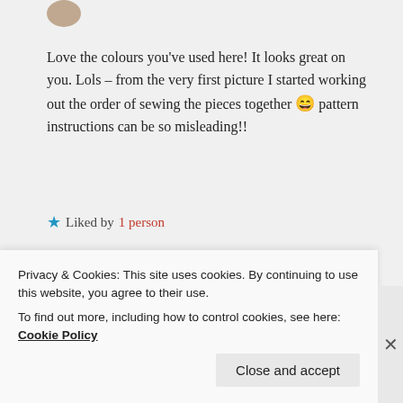[Figure (photo): Partial avatar/profile image at top]
Love the colours you've used here! It looks great on you. Lols – from the very first picture I started working out the order of sewing the pieces together 😄 pattern instructions can be so misleading!!
★ Liked by 1 person
REPLY
[Figure (logo): Dark banner with sensei logo/text]
Privacy & Cookies: This site uses cookies. By continuing to use this website, you agree to their use. To find out more, including how to control cookies, see here: Cookie Policy
Close and accept